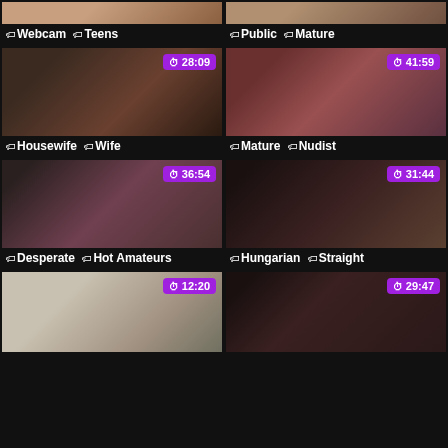[Figure (photo): Video thumbnail - top left partial]
[Figure (photo): Video thumbnail - top right partial]
Webcam  Teens
Public  Mature
[Figure (photo): Video thumbnail 28:09 - Housewife/Wife]
[Figure (photo): Video thumbnail 41:59 - Mature/Nudist]
Housewife  Wife
Mature  Nudist
[Figure (photo): Video thumbnail 36:54 - Desperate/Hot Amateurs]
[Figure (photo): Video thumbnail 31:44 - Hungarian/Straight]
Desperate  Hot Amateurs
Hungarian  Straight
[Figure (photo): Video thumbnail 12:20 - partial bottom]
[Figure (photo): Video thumbnail 29:47 - partial bottom]